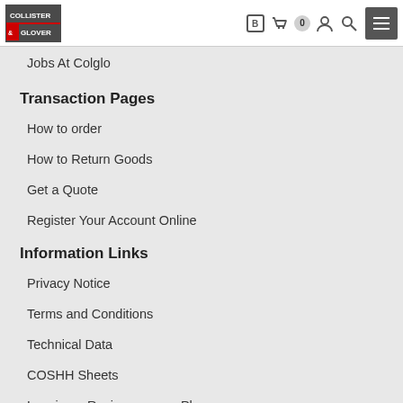Collister & Glover — navigation header with logo and icons
Jobs At Colglo
Transaction Pages
How to order
How to Return Goods
Get a Quote
Register Your Account Online
Information Links
Privacy Notice
Terms and Conditions
Technical Data
COSHH Sheets
Leaving a Review on your Phone